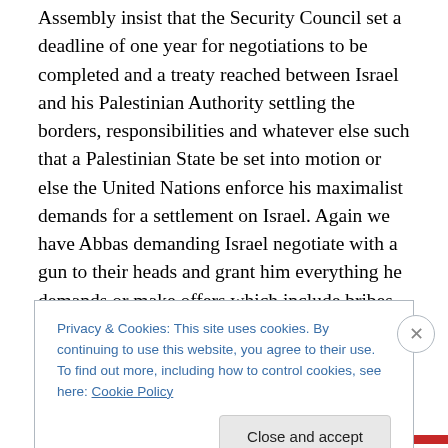Assembly insist that the Security Council set a deadline of one year for negotiations to be completed and a treaty reached between Israel and his Palestinian Authority settling the borders, responsibilities and whatever else such that a Palestinian State be set into motion or else the United Nations enforce his maximalist demands for a settlement on Israel. Again we have Abbas demanding Israel negotiate with a gun to their heads and grant him everything he demands or make offers which include bribes in order to get any form of compromise or else face international troops forcing Israel to surrender every last
Privacy & Cookies: This site uses cookies. By continuing to use this website, you agree to their use.
To find out more, including how to control cookies, see here: Cookie Policy